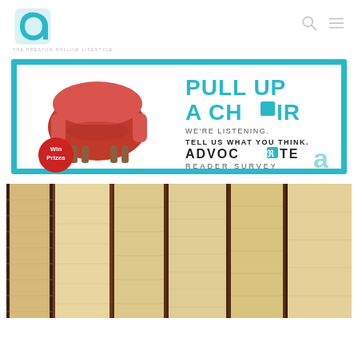[Figure (logo): Advocate magazine logo — stylized letter 'a' in teal/cyan with tagline 'THE PRESTON HOLLOW LIFESTYLE']
[Figure (infographic): Advocate Reader Survey ad banner with cyan border. Red armchair on left, text 'PULL UP A CHAIR, WE'RE LISTENING. TELL US WHAT YOU THINK. ADVOCATE READER SURVEY' on right. Red 'Win Prizes' badge in lower left, teal 'a' logo watermark lower right.]
[Figure (photo): Close-up photo of book spines lined up side by side, showing aged tan/cream pages from a top-down angled view with dark spine bindings.]